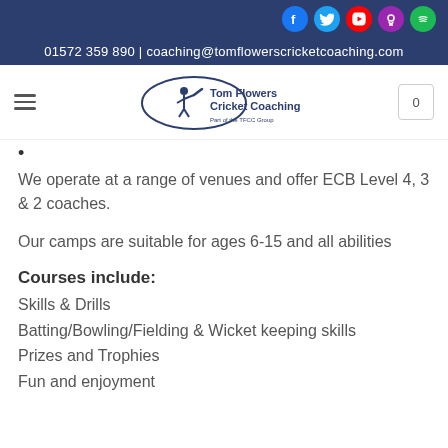01572 359 890 | coaching@tomflowerscricketcoaching.com
[Figure (logo): Tom Flowers Cricket Coaching logo with cricket player silhouette and TFCC Group tagline]
•
We operate at a range of venues and offer ECB Level 4, 3 & 2 coaches.
Our camps are suitable for ages 6-15 and all abilities
Courses include:
Skills & Drills
Batting/Bowling/Fielding & Wicket keeping skills
Prizes and Trophies
Fun and enjoyment